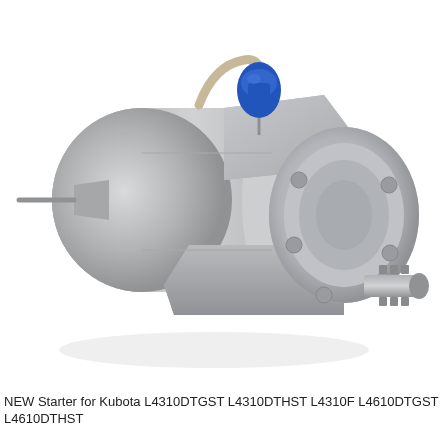[Figure (photo): Photograph of a new starter motor for Kubota tractors. The starter is a cylindrical metallic silver/grey unit with a blue plastic connector cap at the top, a beige/cream wire bracket, a central cylindrical motor body, a gear reduction housing in the middle-lower area, and a pinion gear assembly extending to the right side. The background is white.]
NEW Starter for Kubota L4310DTGST L4310DTHST L4310F L4610DTGST L4610DTHST